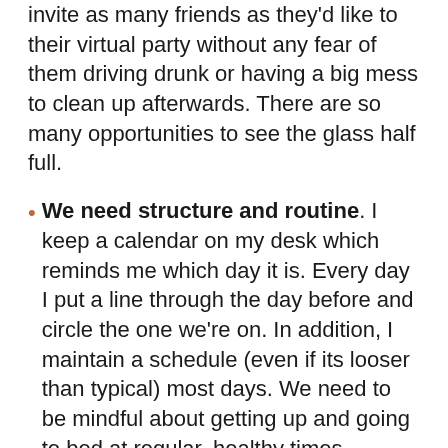invite as many friends as they'd like to their virtual party without any fear of them driving drunk or having a big mess to clean up afterwards. There are so many opportunities to see the glass half full.
We need structure and routine. I keep a calendar on my desk which reminds me which day it is. Every day I put a line through the day before and circle the one we're on. In addition, I maintain a schedule (even if its looser than typical) most days. We need to be mindful about getting up and going to bed at regular, healthy times, maintaining hygiene such as showering, washing hair, grooming and brushing our teeth, for example. Even getting changed out of PJ's and into day clothes is important. Eating the same number of meals as you typically do,